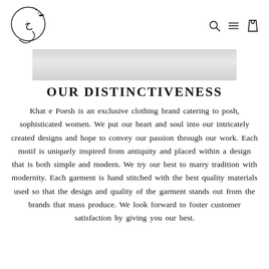[Logo: Khat e Poesh brand logo with calligraphy] [Search icon] [Menu icon] [Cart icon]
[Figure (photo): A light grey/marble textured banner image]
OUR DISTINCTIVENESS
Khat e Poesh is an exclusive clothing brand catering to posh, sophisticated women. We put our heart and soul into our intricately created designs and hope to convey our passion through our work. Each motif is uniquely inspired from antiquity and placed within a design that is both simple and modern. We try our best to marry tradition with modernity. Each garment is hand stitched with the best quality materials used so that the design and quality of the garment stands out from the brands that mass produce. We look forward to foster customer satisfaction by giving you our best.